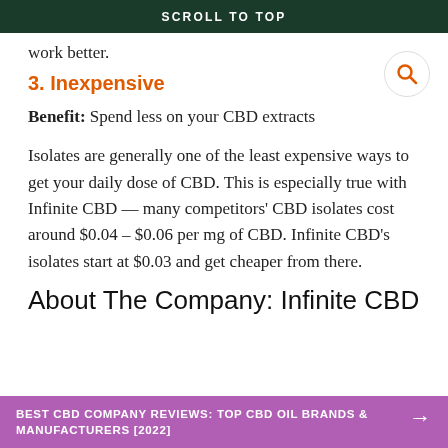SCROLL TO TOP
work better.
3. Inexpensive
Benefit: Spend less on your CBD extracts
Isolates are generally one of the least expensive ways to get your daily dose of CBD. This is especially true with Infinite CBD — many competitors' CBD isolates cost around $0.04 – $0.06 per mg of CBD. Infinite CBD's isolates start at $0.03 and get cheaper from there.
About The Company: Infinite CBD
BEST CBD COMPANY REVIEWS: TOP CBD OIL BRANDS & MANUFACTURERS [2022]